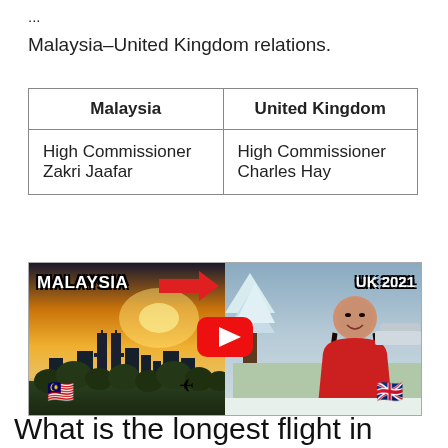...
Malaysia–United Kingdom relations.
| Malaysia | United Kingdom |
| --- | --- |
| High Commissioner Zakri Jaafar | High Commissioner Charles Hay |
[Figure (screenshot): YouTube thumbnail showing split image: left side is Kuala Lumpur skyline at golden sunset with text 'MALAYSIA', right side shows a woman in red coat in snowy scene with text 'UK 2021'. A red arrow points from left to right. A YouTube play button is centered. Malaysian flag in lower left, UK flag in lower right, airplane emoji in center bottom.]
What is the longest flight in